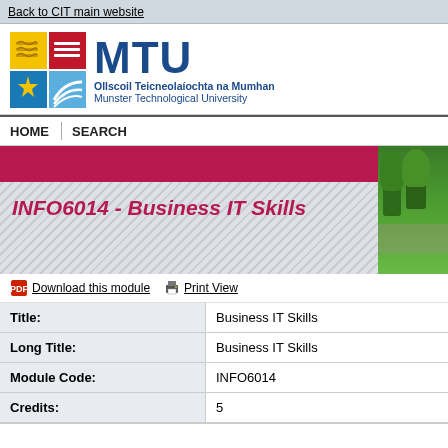Back to CIT main website
[Figure (logo): MTU - Munster Technological University logo with colored quadrant shield and MTU text in navy blue, with Irish and English university name]
INFO6014 - Business IT Skills
Download this module | Print View
| Field | Value |
| --- | --- |
| Title: | Business IT Skills |
| Long Title: | Business IT Skills |
| Module Code: | INFO6014 |
| Credits: | 5 |